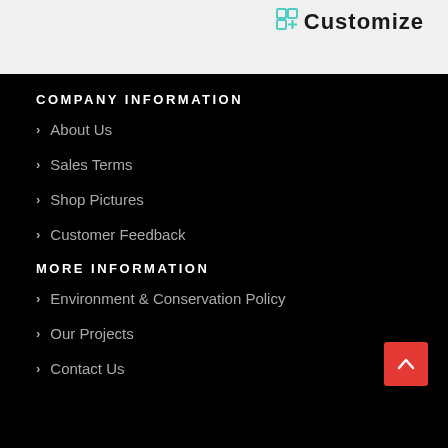[Figure (screenshot): Top header area with light gray background showing partial logo on left and 'Customize' link with icon on right]
COMPANY INFORMATION
About Us
Sales Terms
Shop Pictures
Customer Feedback
MORE INFORMATION
Environment & Conservation Policy
Our Projects
Contact Us